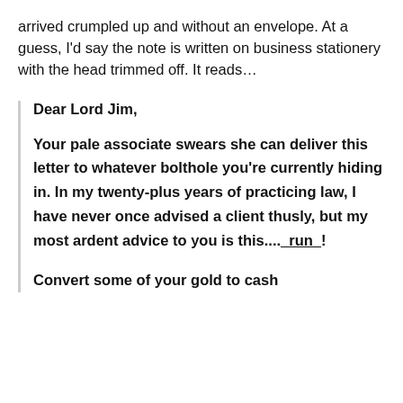arrived crumpled up and without an envelope. At a guess, I'd say the note is written on business stationery with the head trimmed off. It reads...
Dear Lord Jim,

Your pale associate swears she can deliver this letter to whatever bolthole you're currently hiding in. In my twenty-plus years of practicing law, I have never once advised a client thusly, but my most ardent advice to you is this...._run_!

Convert some of your gold to cash